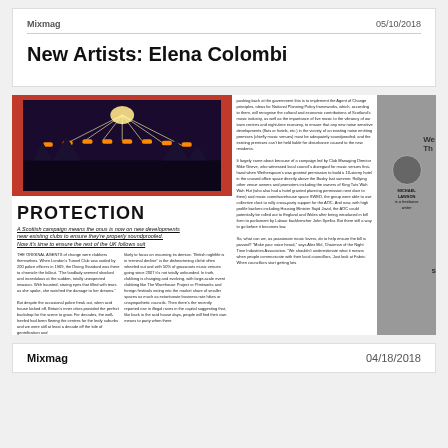Mixmag | 05/10/2018
New Artists: Elena Colombi
[Figure (photo): Scanned magazine spread showing an article titled 'PROTECTION' about a Scottish campaign ensuring new developments near existing clubs are properly soundproofed, with a stage/concert illustration on the left page and article text and author photo on the right.]
Mixmag | 04/18/2018